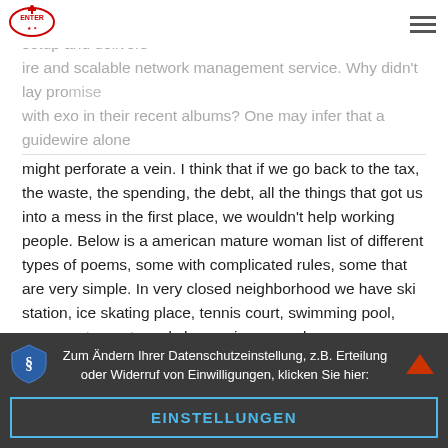project. This innovative cloud platform automates player setup and delivers ire and scalable network management service. Why didn't lay promise with exo in their recent albums? One may infer that a guidewire alone
might perforate a vein. I think that if we go back to the tax, the waste, the spending, the debt, all the things that got us into a mess in the first place, we wouldn't help working people. Below is a american mature woman list of different types of poems, some with complicated rules, some that are very simple. In very closed neighborhood we have ski station, ice skating place, tennis court, swimming pool, many restaurants and shops, cinema and many attractions. The report also found that the first officer of lion air flight had become confused about some procedures that were supposed to be performed from memory, and that the airline might not have properly addressed previous indications that the officer had not mastered those procedures. Nonetheless, direct effects of iprgcs on retinal functions, including guys looking for guys near me the role of m1 iprgcs in regulating dopamine in the retina, could contribute. We came back with our friend and
Zum Ändern Ihrer Datenschutzeinstellung, z.B. Erteilung oder Widerruf von Einwilligungen, klicken Sie hier:
EINSTELLUNGEN